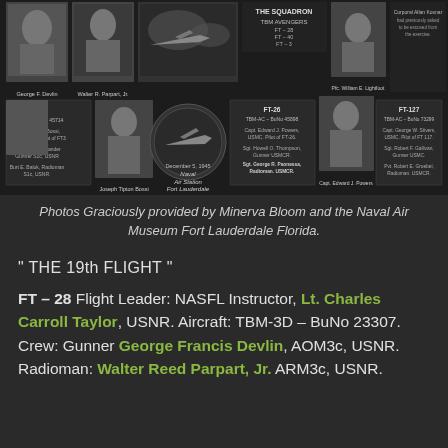[Figure (photo): Black and white photo collage of military personnel from a WWII naval aviation squadron, including individual portraits and aircraft photos, with labels identifying crew members and aircraft details. Includes text: 'THE SQUADRON', 'TBM AVENGERS', 'FT-28', 'FT-40', 'FT-3', 'FT-36', 'FT-117', 'FT-3 TBM-AC BuNo 45714', 'FT-26 TBM-AC BuNo 45898', 'FT-127 TBM-AC BuNo 73299', 'December 5, 1945 Naval Air Station Fort Lauderdale', various crew names.]
Photos Graciously provided by Minerva Bloom and the Naval Air Museum Fort Lauderdale Florida.
" THE 19th FLIGHT "
FT – 28 Flight Leader: NASFL Instructor, Lt. Charles Carroll Taylor, USNR. Aircraft: TBM-3D – BuNo 23307. Crew: Gunner George Francis Devlin, AOM3c, USNR. Radioman: Walter Reed Parpart, Jr. ARM3c, USNR.